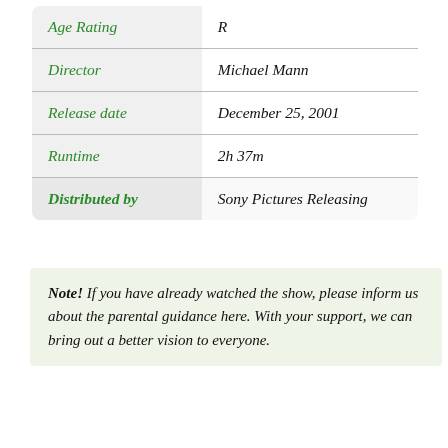| Field | Value |
| --- | --- |
| Age Rating | R |
| Director | Michael Mann |
| Release date | December 25, 2001 |
| Runtime | 2h 37m |
| Distributed by | Sony Pictures Releasing |
Note! If you have already watched the show, please inform us about the parental guidance here. With your support, we can bring out a better vision to everyone.